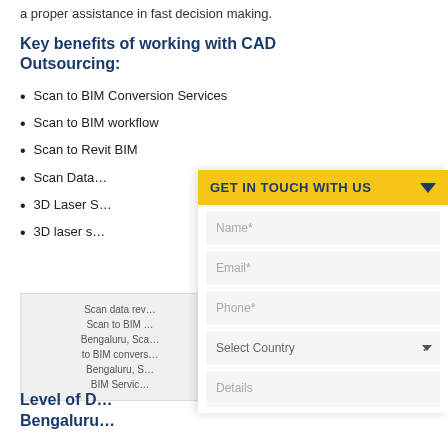a proper assistance in fast decision making.
Key benefits of working with CAD Outsourcing:
Scan to BIM Conversion Services
Scan to BIM workflow
Scan to Revit BIM
Scan Data…
3D Laser S…
3D laser s…
Scan data rev… Scan to BIM … Bengaluru, Sca… to BIM convers… Bengaluru, S… BIM Servic…
Level of D… Bengaluru…
[Figure (infographic): GET IN TOUCH WITH US contact form overlay with fields: Name*, Email*, Phone*, Select Country, Details]